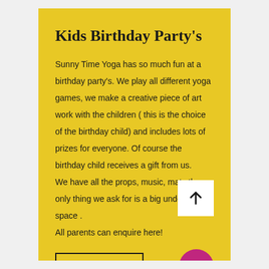Kids Birthday Party's
Sunny Time Yoga has so much fun at a birthday party's. We play all different yoga games, we make a creative piece of art work with the children ( this is the choice of the birthday child) and includes lots of prizes for everyone. Of course the birthday child receives a gift from us.
We have all the props, music, mats the only thing we ask for is a big undercover space .
All parents can enquire here!
Enquire now